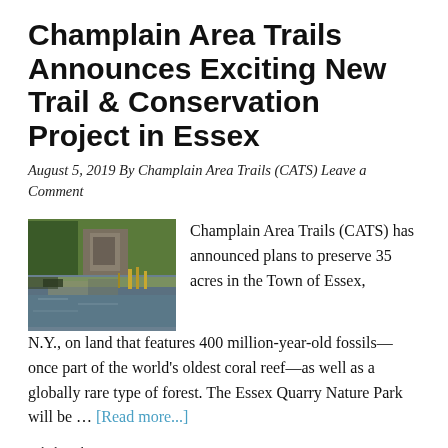Champlain Area Trails Announces Exciting New Trail & Conservation Project in Essex
August 5, 2019 By Champlain Area Trails (CATS) Leave a Comment
[Figure (photo): Outdoor nature scene showing a pond or lake with reflection, surrounded by trees and rocky cliffs in autumn.]
Champlain Area Trails (CATS) has announced plans to preserve 35 acres in the Town of Essex, N.Y., on land that features 400 million-year-old fossils—once part of the world's oldest coral reef—as well as a globally rare type of forest. The Essex Quarry Nature Park will be … [Read more...]
Filed Under: Nature, News